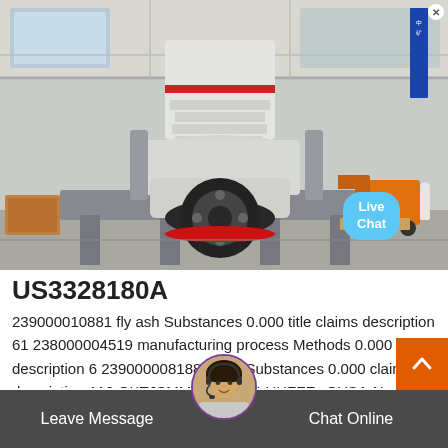[Figure (photo): Industrial vertical mill machine (likely a Raymond mill or similar) in a factory/warehouse setting. The machine is white with red accents, mounted on a metal frame. A forklift is visible in the background on the right.]
US3328180A
239000010881 fly ash Substances 0.000 title claims description 61 238000004519 manufacturing process Methods 0.000 title description 6 239000008188 pellet Substances 0.000 claims description 110 OKTJSMMVPCPJKN-UHFFFáQYSA-N carbon metho
[Figure (other): Live Chat speech bubble button (light blue) overlaid on the photo, bottom-right area.]
[Figure (other): Scroll-to-top orange button with upward chevron arrow, bottom-right corner.]
[Figure (other): Customer service avatar (woman with headset) centered at the bottom bar.]
Leave Message
Chat Online